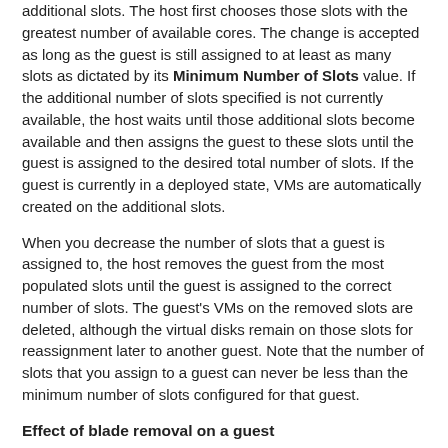additional slots. The host first chooses those slots with the greatest number of available cores. The change is accepted as long as the guest is still assigned to at least as many slots as dictated by its Minimum Number of Slots value. If the additional number of slots specified is not currently available, the host waits until those additional slots become available and then assigns the guest to these slots until the guest is assigned to the desired total number of slots. If the guest is currently in a deployed state, VMs are automatically created on the additional slots.
When you decrease the number of slots that a guest is assigned to, the host removes the guest from the most populated slots until the guest is assigned to the correct number of slots. The guest's VMs on the removed slots are deleted, although the virtual disks remain on those slots for reassignment later to another guest. Note that the number of slots that you assign to a guest can never be less than the minimum number of slots configured for that guest.
Effect of blade removal on a guest
If a blade suddenly becomes unavailable, the total traffic